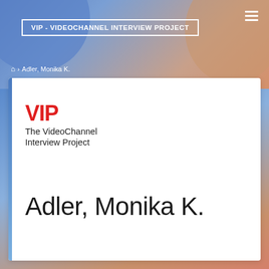VIP - VIDEOCHANNEL INTERVIEW PROJECT
⌂ › Adler, Monika K.
[Figure (logo): VIP - The VideoChannel Interview Project logo with red bold VIP text and black regular weight subtitle]
Adler, Monika K.